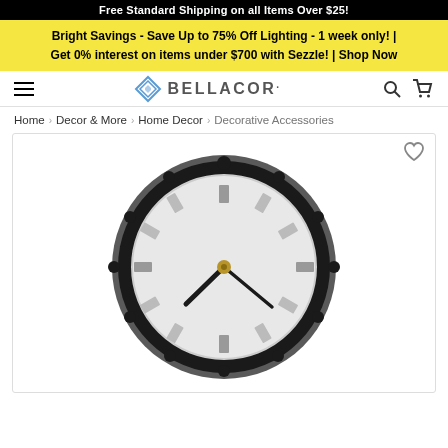Free Standard Shipping on all Items Over $25!
Bright Savings - Save Up to 75% Off Lighting - 1 week only! | Get 0% interest on items under $700 with Sezzle! | Shop Now
BELLACOR.
Home > Decor & More > Home Decor > Decorative Accessories
[Figure (photo): A decorative wall clock with a round white face, black frame with black ball hour markers around the outer rim, black clock hands, and a gold center cap. The clock face has no numbers, only rectangular hour markers.]